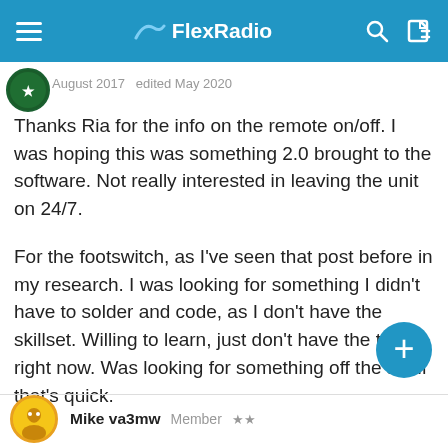FlexRadio
August 2017   edited May 2020
Thanks Ria for the info on the remote on/off.  I was hoping this was something 2.0 brought to the software.  Not really interested in leaving the unit on 24/7.

For the footswitch, as I've seen that post before in my research.  I was looking for something I didn't have to solder and code, as I don't have the skillset.  Willing to learn, just don't have the time right now.  Was looking for something off the shelf that's quick.
Mike va3mw   Member  ★★